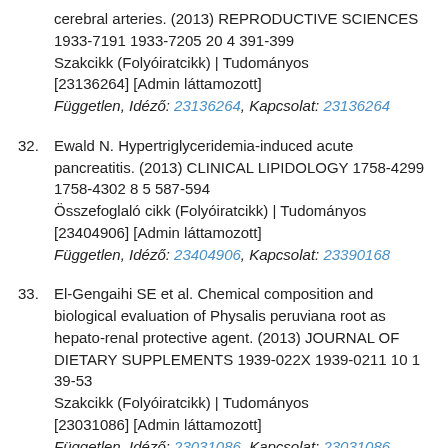cerebral arteries. (2013) REPRODUCTIVE SCIENCES 1933-7191 1933-7205 20 4 391-399 Szakcikk (Folyóiratcikk) | Tudományos [23136264] [Admin láttamozott] Független, Idéző: 23136264, Kapcsolat: 23136264
32. Ewald N. Hypertriglyceridemia-induced acute pancreatitis. (2013) CLINICAL LIPIDOLOGY 1758-4299 1758-4302 8 5 587-594 Összefoglaló cikk (Folyóiratcikk) | Tudományos [23404906] [Admin láttamozott] Független, Idéző: 23404906, Kapcsolat: 23390168
33. El-Gengaihi SE et al. Chemical composition and biological evaluation of Physalis peruviana root as hepato-renal protective agent. (2013) JOURNAL OF DIETARY SUPPLEMENTS 1939-022X 1939-0211 10 1 39-53 Szakcikk (Folyóiratcikk) | Tudományos [23031086] [Admin láttamozott] Független, Idéző: 23031086, Kapcsolat: 23031086